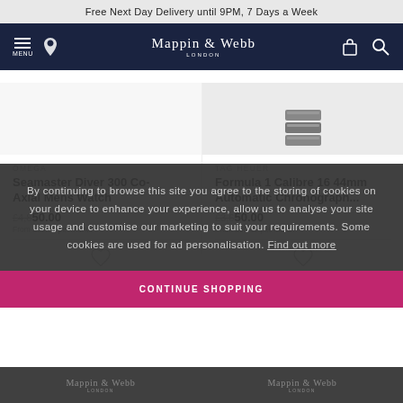Free Next Day Delivery until 9PM, 7 Days a Week
[Figure (screenshot): Mappin & Webb London navigation bar with menu, location, logo, bag and search icons on dark navy background]
OMEGA
Seamaster Diver 300 Co-Axial Mens Watch
£4,850.00
From £90.73 per month
TAG HEUER
Formula 1 Calibre 16 44mm Automatic Chronograph...
£3,650.00
From £65.32 per month
By continuing to browse this site you agree to the storing of cookies on your device to enhance your experience, allow us to analyse your site usage and customise our marketing to suit your requirements. Some cookies are used for ad personalisation. Find out more
CONTINUE SHOPPING